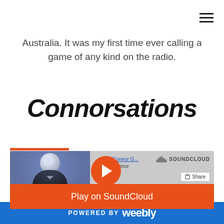☰
Australia. It was my first time ever calling a game of any kind on the radio.
Connorsations
[Figure (screenshot): SoundCloud embedded player widget showing 'Connor G... / Connor' track with orange play button, Share button, Play on SoundCloud orange banner, Listen in browser button, Privacy policy label, and playback indicator showing 30]
Connor Griffin · Connorsations Episode 5: Debbie Antonelli
Connorsations is a full-length podcast that I
POWERED BY weebly